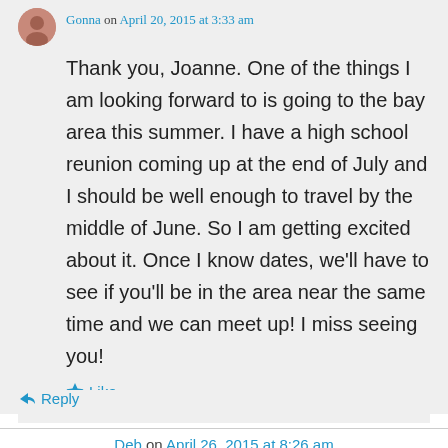Gonna on April 20, 2015 at 3:33 am
Thank you, Joanne. One of the things I am looking forward to is going to the bay area this summer. I have a high school reunion coming up at the end of July and I should be well enough to travel by the middle of June. So I am getting excited about it. Once I know dates, we'll have to see if you'll be in the area near the same time and we can meet up! I miss seeing you!
Like
Reply
Deb on April 26, 2015 at 8:26 am
Thanks for the offer and I bet she will get in on it...